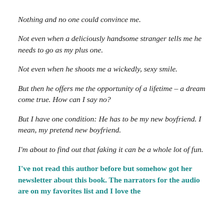Nothing and no one could convince me.
Not even when a deliciously handsome stranger tells me he needs to go as my plus one.
Not even when he shoots me a wickedly, sexy smile.
But then he offers me the opportunity of a lifetime – a dream come true. How can I say no?
But I have one condition: He has to be my new boyfriend. I mean, my pretend new boyfriend.
I'm about to find out that faking it can be a whole lot of fun.
I've not read this author before but somehow got her newsletter about this book. The narrators for the audio are on my favorites list and I love the